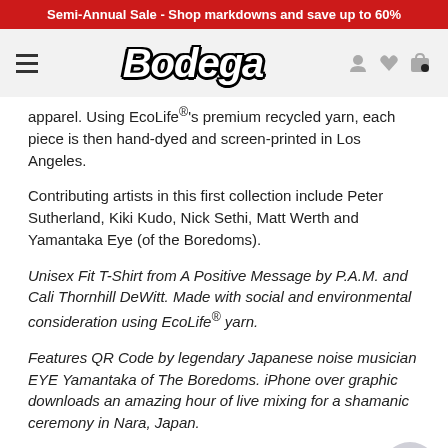Semi-Annual Sale - Shop markdowns and save up to 60%
[Figure (logo): Bodega store logo with hamburger menu and nav icons]
apparel. Using EcoLife®'s premium recycled yarn, each piece is then hand-dyed and screen-printed in Los Angeles.
Contributing artists in this first collection include Peter Sutherland, Kiki Kudo, Nick Sethi, Matt Werth and Yamantaka Eye (of the Boredoms).
Unisex Fit T-Shirt from A Positive Message by P.A.M. and Cali Thornhill DeWitt. Made with social and environmental consideration using EcoLife® yarn.
Features QR Code by legendary Japanese noise musician EYE Yamantaka of The Boredoms. iPhone over graphic downloads an amazing hour of live mixing for a shamanic ceremony in Nara, Japan.
If a size is not listed, it is sold out.